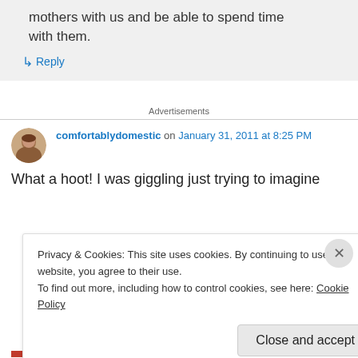mothers with us and be able to spend time with them.
↳ Reply
Advertisements
comfortablydomestic on January 31, 2011 at 8:25 PM
What a hoot! I was giggling just trying to imagine
Privacy & Cookies: This site uses cookies. By continuing to use this website, you agree to their use.
To find out more, including how to control cookies, see here: Cookie Policy
Close and accept